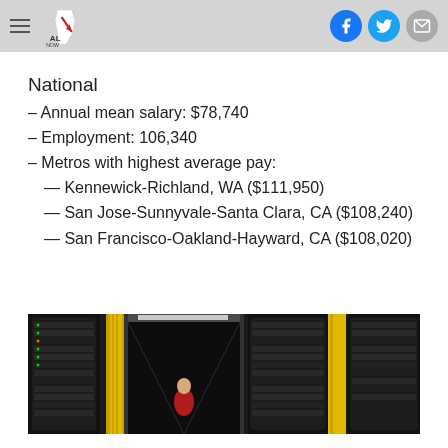ALNow logo with hamburger menu and social icons (Facebook, Twitter, Email)
National
– Annual mean salary: $78,740
– Employment: 106,340
– Metros with highest average pay:
— Kennewick-Richland, WA ($111,950)
— San Jose-Sunnyvale-Santa Clara, CA ($108,240)
— San Francisco-Oakland-Hayward, CA ($108,020)
[Figure (photo): Interior of a server room / data center with black server racks, yellow cable management, overhead lighting, and a person visible in the background.]